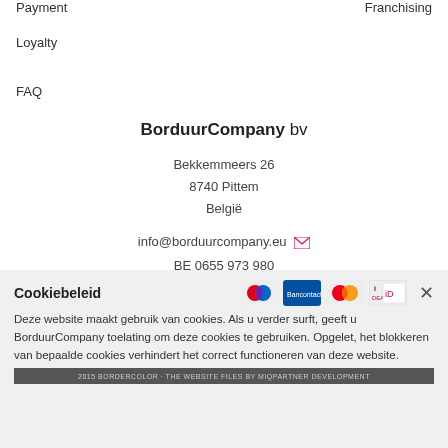Payment
Franchising
Loyalty
FAQ
BorduurCompany bv
Bekkemmeers 26
8740 Pittem
België
info@borduurcompany.eu
BE 0655 973 980
Cookiebeleid
Deze website maakt gebruik van cookies. Als u verder surft, geeft u BorduurCompany toelating om deze cookies te gebruiken. Opgelet, het blokkeren van bepaalde cookies verhindert het correct functioneren van deze website.
2015 BORDERCOLOR · THE WEBSITE FILES BY MIQPARTNER DEVELOPMENT